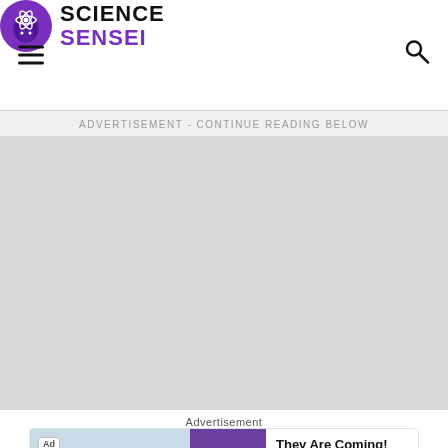Science Sensei
ADVERTISEMENT - CONTINUE READING BELOW
[Figure (other): Gray advertisement placeholder area]
Advertisement
[Figure (screenshot): Ad unit: 'They Are Coming!' by Rollic with Download button]